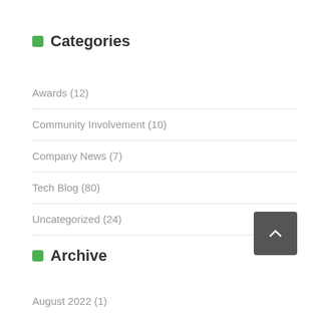Categories
Awards (12)
Community Involvement (10)
Company News (7)
Tech Blog (80)
Uncategorized (24)
Archive
August 2022 (1)
July 2022 (1)